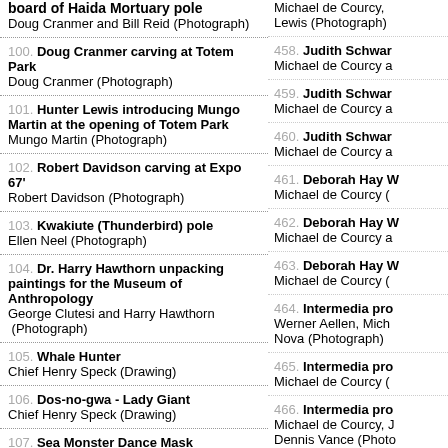board of Haida Mortuary pole — Doug Cranmer and Bill Reid (Photograph)
100. Doug Cranmer carving at Totem Park — Doug Cranmer (Photograph)
101. Hunter Lewis introducing Mungo Martin at the opening of Totem Park — Mungo Martin (Photograph)
102. Robert Davidson carving at Expo 67' — Robert Davidson (Photograph)
103. Kwakiute (Thunderbird) pole — Ellen Neel (Photograph)
104. Dr. Harry Hawthorn unpacking paintings for the Museum of Anthropology — George Clutesi and Harry Hawthorn (Photograph)
105. Whale Hunter — Chief Henry Speck (Drawing)
106. Dos-no-gwa - Lady Giant — Chief Henry Speck (Drawing)
107. Sea Monster Dance Mask — Chief Henry Speck (Drawing)
108. Wren Dance — Chief Henry Speck (Drawing)
Michael de Courcy, Lewis (Photograph)
458. Judith Schwar... — Michael de Courcy a
459. Judith Schwar... — Michael de Courcy a
460. Judith Schwar... — Michael de Courcy a
461. Deborah Hay V... — Michael de Courcy (
462. Deborah Hay V... — Michael de Courcy a
463. Deborah Hay V... — Michael de Courcy (
464. Intermedia pro... — Werner Aellen, Mich... Nova (Photograph)
465. Intermedia pro... — Michael de Courcy (
466. Intermedia pro... — Michael de Courcy, J... Dennis Vance (Photo...
467. Intermedia pro...